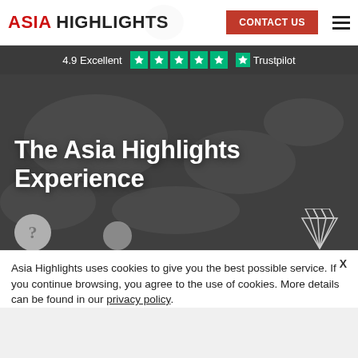ASIA HIGHLIGHTS | CONTACT US
4.9 Excellent ★★★★★ Trustpilot
[Figure (screenshot): Hero banner with dark overlay showing 'The Asia Highlights Experience' title, with a question mark circle icon and diamond icon at the bottom]
The Asia Highlights Experience
Asia Highlights uses cookies to give you the best possible service. If you continue browsing, you agree to the use of cookies. More details can be found in our privacy policy.